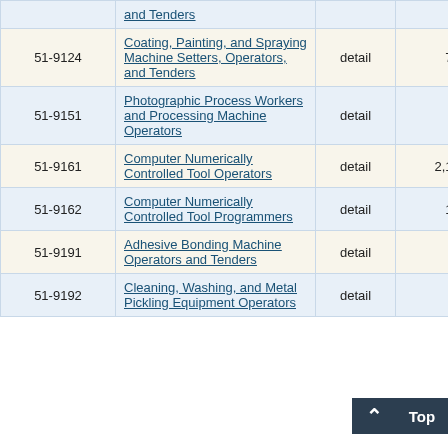| Code | Occupation | Level | Employment | ... |
| --- | --- | --- | --- | --- |
|  | and Tenders |  |  |  |
| 51-9124 | Coating, Painting, and Spraying Machine Setters, Operators, and Tenders | detail | 780 | 6 |
| 51-9151 | Photographic Process Workers and Processing Machine Operators | detail | 70 | 43 |
| 51-9161 | Computer Numerically Controlled Tool Operators | detail | 2,190 | 6 |
| 51-9162 | Computer Numerically Controlled Tool Programmers | detail | 190 | 10 |
| 51-9191 | Adhesive Bonding Machine Operators and Tenders | detail | 40 | 35 |
| 51-9192 | Cleaning, Washing, and Metal Pickling Equipment Operators... | detail | 10 |  |